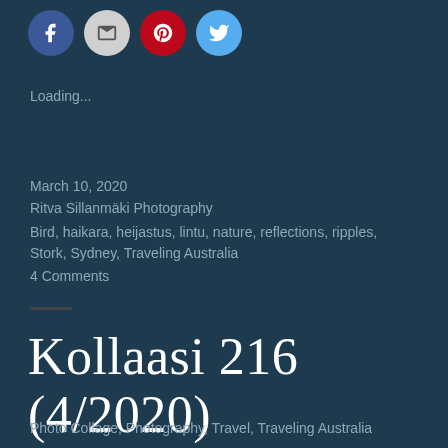[Figure (infographic): Four social sharing icon circles: Facebook (blue), Email (gray), Pinterest (red), Twitter (light blue)]
Loading...
March 10, 2020
Ritva Sillanmäki Photography
Bird, haikara, heijastus, lintu, nature, reflections, ripples, Stork, Sydney, Traveling Australia
4 Comments
Kollaasi 216 (4/2020)
Photo Collage, Photography, Travel, Traveling Australia